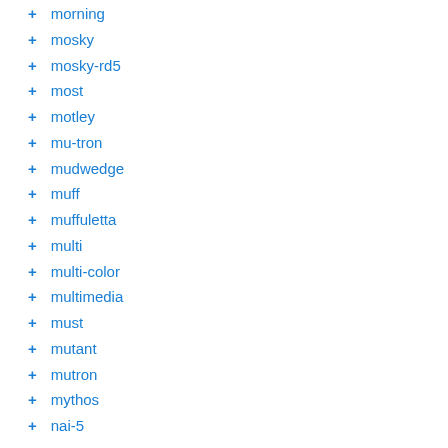+ morning
+ mosky
+ mosky-rd5
+ most
+ motley
+ mu-tron
+ mudwedge
+ muff
+ muffuletta
+ multi
+ multi-color
+ multimedia
+ must
+ mutant
+ mutron
+ mythos
+ nai-5
+ namm
+ nano
+ native
+ ndr5